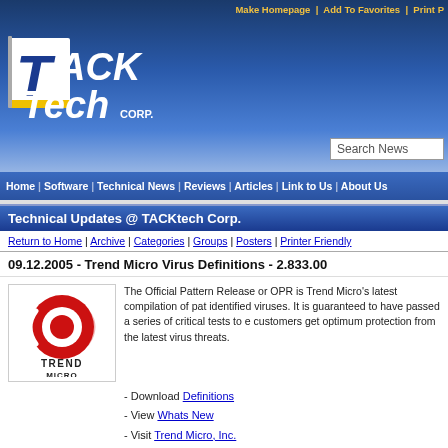Make Homepage | Add To Favorites | Print P
[Figure (logo): TACKtech Corp. logo with yellow T on white/silver background]
Search News
Home | Software | Technical News | Reviews | Articles | Link to Us | About Us
Technical Updates @ TACKtech Corp.
Return to Home | Archive | Categories | Groups | Posters | Printer Friendly
09.12.2005 - Trend Micro Virus Definitions - 2.833.00
[Figure (logo): Trend Micro logo - red circular design with TREND MICRO text]
The Official Pattern Release or OPR is Trend Micro's latest compilation of pat identified viruses. It is guaranteed to have passed a series of critical tests to e customers get optimum protection from the latest virus threats.
- Download Definitions
- View Whats New
- Visit Trend Micro, Inc.
NID: 7862 / Submitted by: The
Categories: Anti-Virus
Most recent TrendMicro related news.
Trend Micro Virus Definitions - 17.737.50